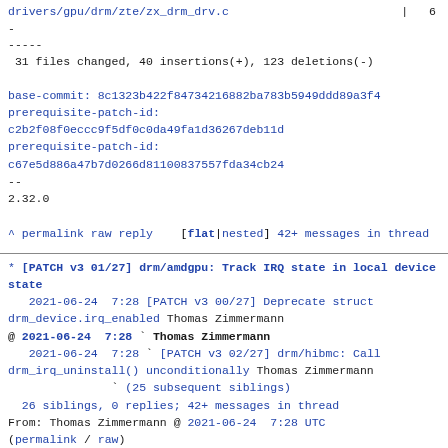drivers/gpu/drm/zte/zx_drm_drv.c                        |   6 -
-----
 31 files changed, 40 insertions(+), 123 deletions(-)
base-commit: 8c1323b422f84734216882ba783b5949ddd89a3f4
prerequisite-patch-id:
c2b2f08f0eccc9f5df0c0da49fa1d36267deb11d
prerequisite-patch-id:
c67e5d886a47b7d0266d81100837557fda34cb24
--
2.32.0
^ permalink raw reply   [flat|nested] 42+ messages in thread
* [PATCH v3 01/27] drm/amdgpu: Track IRQ state in local device state
2021-06-24  7:28 [PATCH v3 00/27] Deprecate struct drm_device.irq_enabled Thomas Zimmermann
@ 2021-06-24  7:28 ` Thomas Zimmermann
  2021-06-24  7:28 ` [PATCH v3 02/27] drm/hibmc: Call drm_irq_uninstall() unconditionally Thomas Zimmermann
               ` (25 subsequent siblings)
  26 siblings, 0 replies; 42+ messages in thread
From: Thomas Zimmermann @ 2021-06-24  7:28 UTC
(permalink / raw)
  To: daniel, airlied, alexander.deucher,
christian.koenig, Xinbui Pan